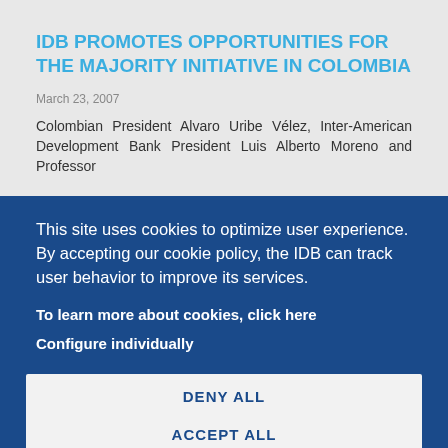IDB PROMOTES OPPORTUNITIES FOR THE MAJORITY INITIATIVE IN COLOMBIA
March 23, 2007
Colombian President Alvaro Uribe Vélez, Inter-American Development Bank President Luis Alberto Moreno and Professor
This site uses cookies to optimize user experience. By accepting our cookie policy, the IDB can track user behavior to improve its services.
To learn more about cookies, click here
Configure individually
DENY ALL
ACCEPT ALL